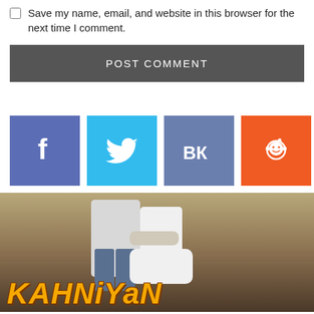Save my name, email, and website in this browser for the next time I comment.
POST COMMENT
[Figure (illustration): Social media share icons: Facebook (blue-purple), Twitter (light blue), VK (steel blue), Reddit (orange)]
[Figure (photo): Two people in white clothing hugging in a field, with 'KAHNIYAN' text overlay at the bottom]
KAHNIYAN